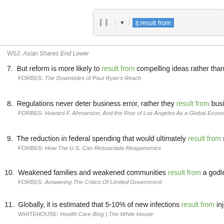[Figure (screenshot): Search bar UI with text 'lj:result from' highlighted in blue, with a dropdown arrow and two vertical bars on the left]
WSJ: Asian Shares End Lower
7. But reform is more likely to result from compelling ideas rather than i... FORBES: The Downsides of Paul Ryan's Reach
8. Regulations never deter business error, rather they result from busine... FORBES: Howard F. Ahmanson, And the Rise of Los Angeles As a Global Econo...
9. The reduction in federal spending that would ultimately result from su... FORBES: How The U.S. Can Resuscitate Reaganomics
10. Weakened families and weakened communities result from a godless... FORBES: Answering The Critics Of Limited Government
11. Globally, it is estimated that 5-10% of new infections result from inject... WHITEHOUSE: Health Care Blog | The White House
12. Nor is there proof that protein clusters cause brain-cell death rather th...